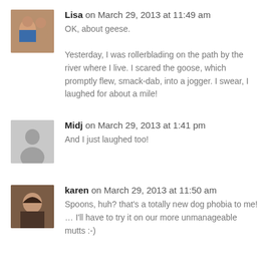Lisa on March 29, 2013 at 11:49 am
OK, about geese.
Yesterday, I was rollerblading on the path by the river where I live. I scared the goose, which promptly flew, smack-dab, into a jogger. I swear, I laughed for about a mile!
Midj on March 29, 2013 at 1:41 pm
And I just laughed too!
karen on March 29, 2013 at 11:50 am
Spoons, huh? that's a totally new dog phobia to me! … I'll have to try it on our more unmanageable mutts :-)